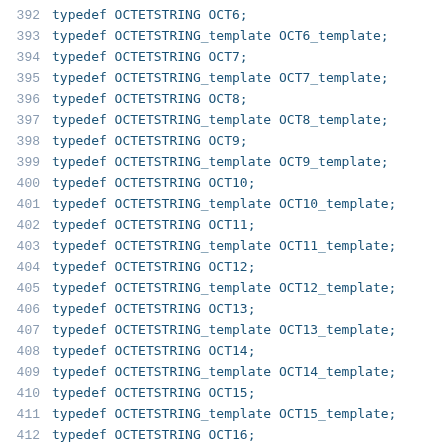392   typedef OCTETSTRING OCT6;
393   typedef OCTETSTRING_template OCT6_template;
394   typedef OCTETSTRING OCT7;
395   typedef OCTETSTRING_template OCT7_template;
396   typedef OCTETSTRING OCT8;
397   typedef OCTETSTRING_template OCT8_template;
398   typedef OCTETSTRING OCT9;
399   typedef OCTETSTRING_template OCT9_template;
400   typedef OCTETSTRING OCT10;
401   typedef OCTETSTRING_template OCT10_template;
402   typedef OCTETSTRING OCT11;
403   typedef OCTETSTRING_template OCT11_template;
404   typedef OCTETSTRING OCT12;
405   typedef OCTETSTRING_template OCT12_template;
406   typedef OCTETSTRING OCT13;
407   typedef OCTETSTRING_template OCT13_template;
408   typedef OCTETSTRING OCT14;
409   typedef OCTETSTRING_template OCT14_template;
410   typedef OCTETSTRING OCT15;
411   typedef OCTETSTRING_template OCT15_template;
412   typedef OCTETSTRING OCT16;
413   typedef OCTETSTRING_template OCT16_template;